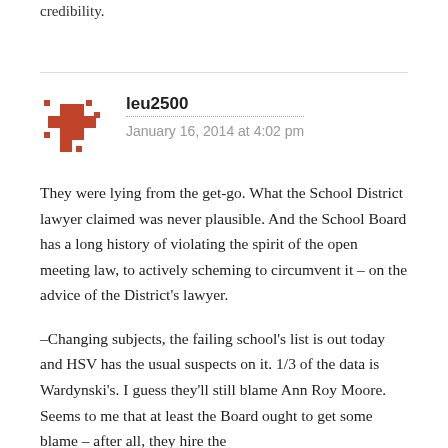credibility.
[Figure (illustration): Pixel-art style avatar icon in brick-red/orange color showing a cross-like shape with small squares]
leu2500
January 16, 2014 at 4:02 pm
They were lying from the get-go. What the School District lawyer claimed was never plausible. And the School Board has a long history of violating the spirit of the open meeting law, to actively scheming to circumvent it – on the advice of the District's lawyer.
–Changing subjects, the failing school's list is out today and HSV has the usual suspects on it. 1/3 of the data is Wardynski's. I guess they'll still blame Ann Roy Moore. Seems to me that at least the Board ought to get some blame – after all, they hire the